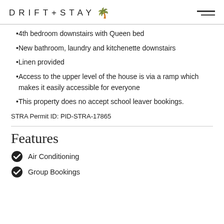DRIFT+STAY
4th bedroom downstairs with Queen bed
New bathroom, laundry and kitchenette downstairs
Linen provided
Access to the upper level of the house is via a ramp which makes it easily accessible for everyone
This property does no accept school leaver bookings.
STRA Permit ID: PID-STRA-17865
Features
Air Conditioning
Group Bookings